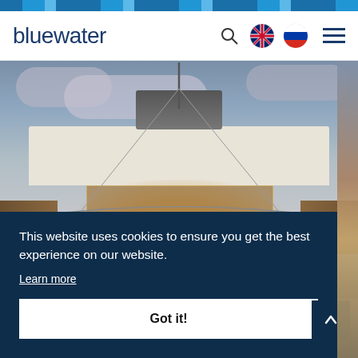bluewater
[Figure (photo): Luxury yacht deck viewed from aft, showing outdoor dining area with warm interior lighting, lounge furniture, and cloudy sky at dusk. Cookie consent overlay in foreground.]
This website uses cookies to ensure you get the best experience on our website.
Learn more
Got it!